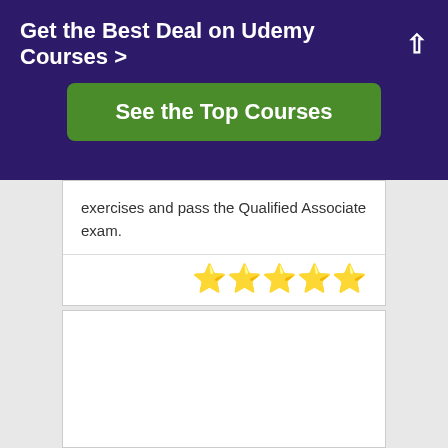Get the Best Deal on Udemy Courses >
See the Top Courses
exercises and pass the Qualified Associate exam.
[Figure (other): Star rating showing approximately 4 out of 5 stars (4 full yellow stars and 1 half/partial star)]